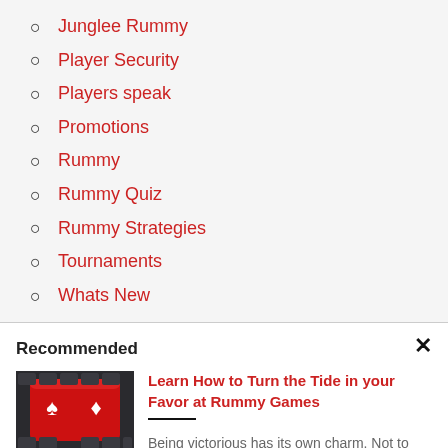Junglee Rummy
Player Security
Players speak
Promotions
Rummy
Rummy Quiz
Rummy Strategies
Tournaments
Whats New
Recommended
[Figure (photo): Red keyboard key with playing card suit symbols on it]
Learn How to Turn the Tide in your Favor at Rummy Games
Being victorious has its own charm. Not to mention the...